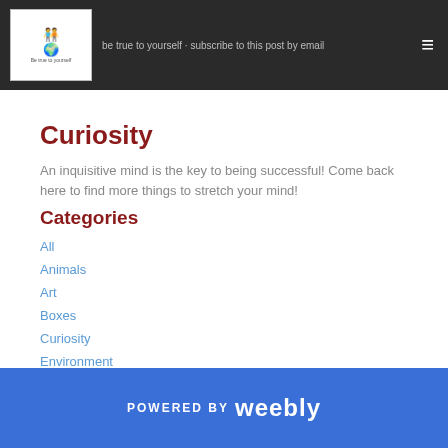Be true to yourself — subscribe to this post by email
Curiosity
An inquisitive mind is the key to being successful! Come back here to find more things to stretch your mind!
Categories
All
Animals
Art
Boxes
Curiosity
Environment
POWERED BY weebly